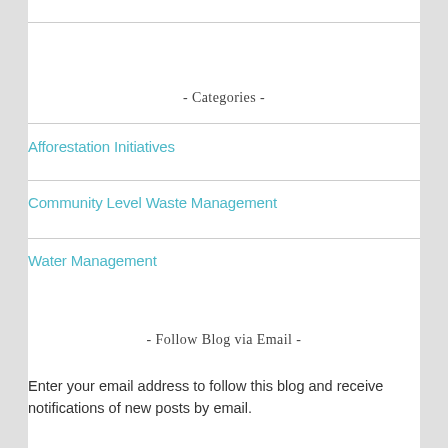- Categories -
Afforestation Initiatives
Community Level Waste Management
Water Management
- Follow Blog via Email -
Enter your email address to follow this blog and receive notifications of new posts by email.